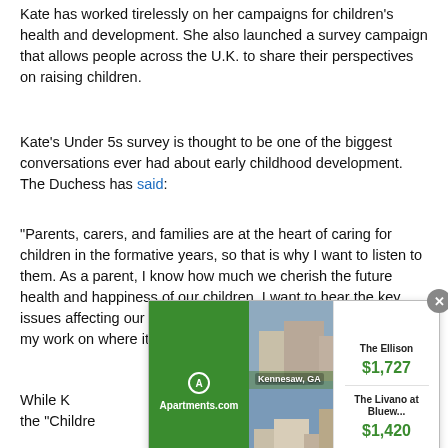Kate has worked tirelessly on her campaigns for children's health and development. She also launched a survey campaign that allows people across the U.K. to share their perspectives on raising children.
Kate's Under 5s survey is thought to be one of the biggest conversations ever had about early childhood development. The Duchess has said:
"Parents, carers, and families are at the heart of caring for children in the formative years, so that is why I want to listen to them. As a parent, I know how much we cherish the future health and happiness of our children. I want to hear the key issues affecting our families and communities so I can focus my work on where it is needed most. My ambition is to pro[mote early childhood as a priority]."
[Figure (screenshot): Apartments.com advertisement overlay showing The Ellison ($1,727) in Kennesaw, GA and The Livano at Bluew... ($1,420) in Celina, TX, with a close button.]
While K[ate was launching] of the "Childre[n's Early Years Survey, focusing] on